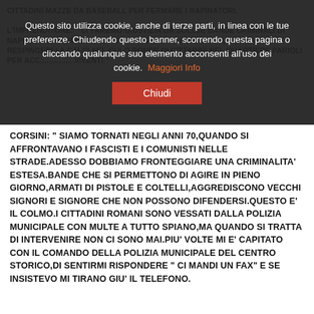CITTADINI.MAZZE DA BASEBALL PER FERMARE I RAPINATORI. L'IMPRENDITORE: " CI FAREMO GIUSTIZIA DA SOLI.SE BANDE CRIMINALI DI NAPOLETANI INVADONO LA CITTA' DI ROMA E' ARRIVATO IL MOMENTO DI RESPINGERLI A CALCI NEL CULO.RONDE DI CITTADINI NEL QUARTIERE PARIOLI PER ACC... VIVENTI."
Questo sito utilizza cookie, anche di terze parti, in linea con le tue preferenze. Chiudendo questo banner, scorrendo questa pagina o cliccando qualunque suo elemento acconsenti all'uso dei cookie. Maggiori Info
Chiudi
CORSINI: " SIAMO TORNATI NEGLI ANNI 70,QUANDO SI AFFRONTAVANO I FASCISTI E I COMUNISTI NELLE STRADE.ADESSO DOBBIAMO FRONTEGGIARE UNA CRIMINALITA' ESTESA.BANDE CHE SI PERMETTONO DI AGIRE IN PIENO GIORNO,ARMATI DI PISTOLE E COLTELLI,AGGREDISCONO VECCHI SIGNORI E SIGNORE CHE NON POSSONO DIFENDERSI.QUESTO E' IL COLMO.I CITTADINI ROMANI SONO VESSATI DALLA POLIZIA MUNICIPALE CON MULTE A TUTTO SPIANO,MA QUANDO SI TRATTA DI INTERVENIRE NON CI SONO MAI.PIU' VOLTE MI E' CAPITATO CON IL COMANDO DELLA POLIZIA MUNICIPALE DEL CENTRO STORICO,DI SENTIRMI RISPONDERE " CI MANDI UN FAX" E SE INSISTEVO MI TIRANO GIU' IL TELEFONO.